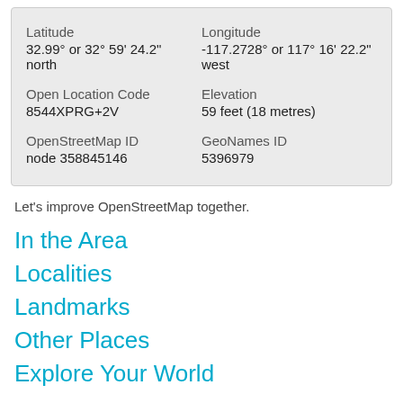| Latitude | Longitude |
| --- | --- |
| 32.99° or 32° 59' 24.2" north | -117.2728° or 117° 16' 22.2" west |
| Open Location Code | Elevation |
| 8544XPRG+2V | 59 feet (18 metres) |
| OpenStreetMap ID | GeoNames ID |
| node 358845146 | 5396979 |
Let's improve OpenStreetMap together.
In the Area
Localities
Landmarks
Other Places
Explore Your World